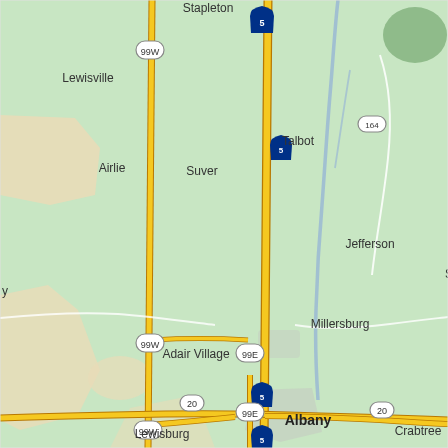[Figure (map): Google Maps style road map showing the Albany, Oregon area including cities: Stapleton, Lewisville, Airlie, Suver, Talbot, Jefferson, Millersburg, Adair Village, Lewisburg, Albany, Riverside, Crabtree, Corvallis, Philomath, Kiger Island, Tangent, Tallman, Lebanon, South Lebanon, Greenberry, Peoria, Shedd, Brownsville. Roads shown include Interstate 5, Highway 99W, Highway 99E, Highway 20, Highway 164, and Highway 34.]